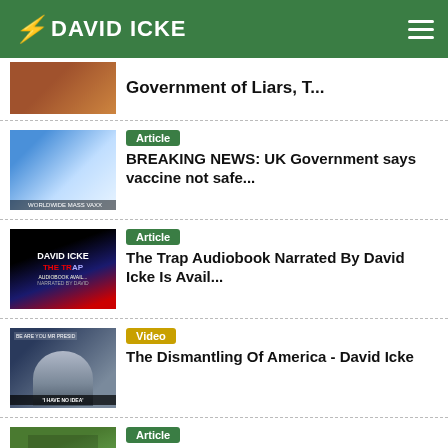DAVID ICKE
Government of Liars, T...
Article — BREAKING NEWS: UK Government says vaccine not safe...
Article — The Trap Audiobook Narrated By David Icke Is Avail...
Video — The Dismantling Of America - David Icke
Article — I wrote in a book called The Robots' Rebellion in ...